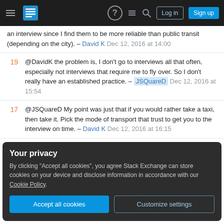Stack Exchange navigation bar with hamburger menu, logo, help, feedback, search icons, Log in and Sign up buttons
an interview since I find them to be more reliable than public transit (depending on the city). – David K Dec 12, 2016 at 14:00
19 @DavidK the problem is, I don't go to interviews all that often, especially not interviews that require me to fly over. So I don't really have an established practice. – JSQuareD Dec 12, 2016 at 15:54
17 @JSQuareD My point was just that if you would rather take a taxi, then take it. Pick the mode of transport that trust to get you to the interview on time. – David K Dec 12, 2016 at 16:15
Your privacy
By clicking "Accept all cookies", you agree Stack Exchange can store cookies on your device and disclose information in accordance with our Cookie Policy.
what they can afford. An interview day is no time for